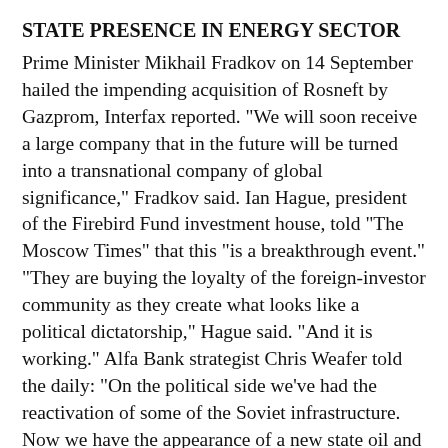STATE PRESENCE IN ENERGY SECTOR
Prime Minister Mikhail Fradkov on 14 September hailed the impending acquisition of Rosneft by Gazprom, Interfax reported. "We will soon receive a large company that in the future will be turned into a transnational company of global significance," Fradkov said. Ian Hague, president of the Firebird Fund investment house, told "The Moscow Times" that this "is a breakthrough event." "They are buying the loyalty of the foreign-investor community as they create what looks like a political dictatorship," Hague said. "And it is working." Alfa Bank strategist Chris Weafer told the daily: "On the political side we've had the reactivation of some of the Soviet infrastructure. Now we have the appearance of a new state oil and gas giant. They are building Russia's version of [Saudi Arabia's] Aramco." Institute of Globalization President